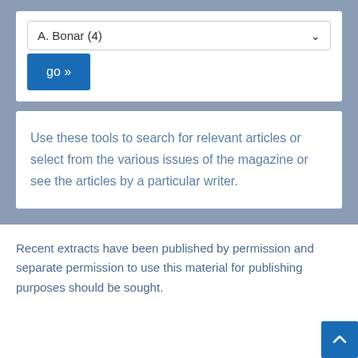[Figure (screenshot): Dropdown selector showing 'A. Bonar (4)' with a chevron arrow, and a blue 'go »' button below it, inside a white card on a grey-blue background]
Use these tools to search for relevant articles or select from the various issues of the magazine or see the articles by a particular writer.
Recent extracts have been published by permission and separate permission to use this material for publishing purposes should be sought.